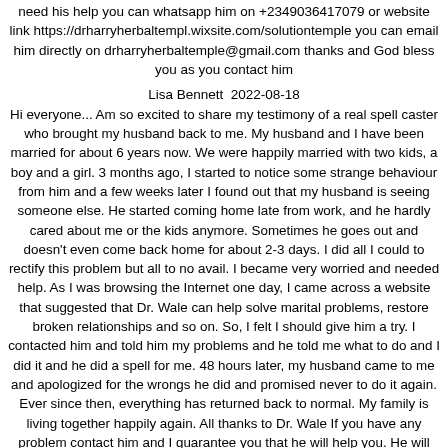need his help you can whatsapp him on +2349036417079 or website link https://drharryherbaltempl.wixsite.com/solutiontemple you can email him directly on drharryherbaltemple@gmail.com thanks and God bless you as you contact him
Lisa Bennett  2022-08-18
Hi everyone... Am so excited to share my testimony of a real spell caster who brought my husband back to me. My husband and I have been married for about 6 years now. We were happily married with two kids, a boy and a girl. 3 months ago, I started to notice some strange behaviour from him and a few weeks later I found out that my husband is seeing someone else. He started coming home late from work, and he hardly cared about me or the kids anymore. Sometimes he goes out and doesn't even come back home for about 2-3 days. I did all I could to rectify this problem but all to no avail. I became very worried and needed help. As I was browsing the Internet one day, I came across a website that suggested that Dr. Wale can help solve marital problems, restore broken relationships and so on. So, I felt I should give him a try. I contacted him and told him my problems and he told me what to do and I did it and he did a spell for me. 48 hours later, my husband came to me and apologized for the wrongs he did and promised never to do it again. Ever since then, everything has returned back to normal. My family is living together happily again. All thanks to Dr. Wale If you have any problem contact him and I guarantee you that he will help you. He will not disappoint you. you can WhatsApp him +1(978) 406-9575 or Email him at: everlastingspellcast@gmail.com or visit his website everlastingspellcaster.website2.me
Lisa Bennett  2022-08-18